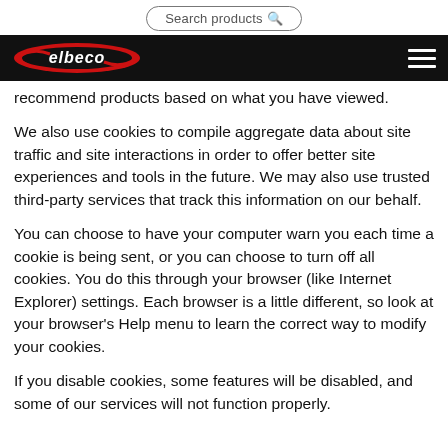Search products
[Figure (logo): Elbeco logo — white oval with red swoosh accents and white 'elbeco' text on black background, with hamburger menu icon on the right]
recommend products based on what you have viewed.
We also use cookies to compile aggregate data about site traffic and site interactions in order to offer better site experiences and tools in the future. We may also use trusted third-party services that track this information on our behalf.
You can choose to have your computer warn you each time a cookie is being sent, or you can choose to turn off all cookies. You do this through your browser (like Internet Explorer) settings. Each browser is a little different, so look at your browser's Help menu to learn the correct way to modify your cookies.
If you disable cookies, some features will be disabled, and some of our services will not function properly.